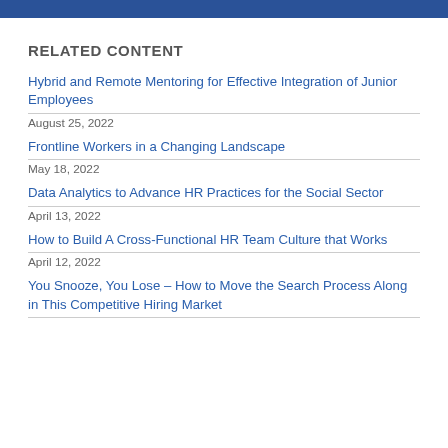RELATED CONTENT
Hybrid and Remote Mentoring for Effective Integration of Junior Employees
August 25, 2022
Frontline Workers in a Changing Landscape
May 18, 2022
Data Analytics to Advance HR Practices for the Social Sector
April 13, 2022
How to Build A Cross-Functional HR Team Culture that Works
April 12, 2022
You Snooze, You Lose – How to Move the Search Process Along in This Competitive Hiring Market